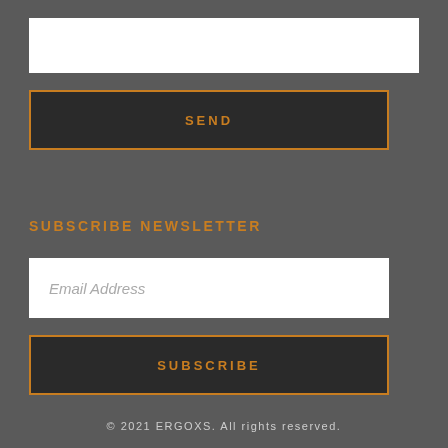[Figure (other): White text input box (empty)]
SEND
SUBSCRIBE NEWSLETTER
Email Address
SUBSCRIBE
© 2021 ERGOXS. All rights reserved.